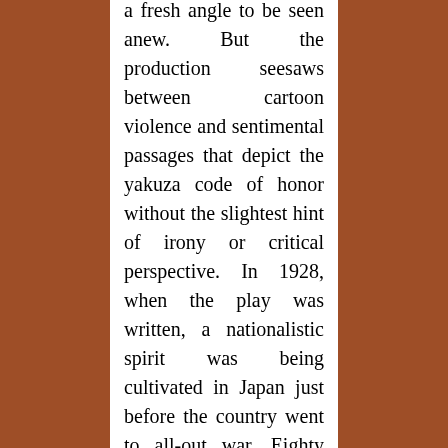a fresh angle to be seen anew. But the production seesaws between cartoon violence and sentimental passages that depict the yakuza code of honor without the slightest hint of irony or critical perspective. In 1928, when the play was written, a nationalistic spirit was being cultivated in Japan just before the country went to all-out war. Eighty years later, the spirit of self-sacrifice and the tragic choice between duty and love, giri and